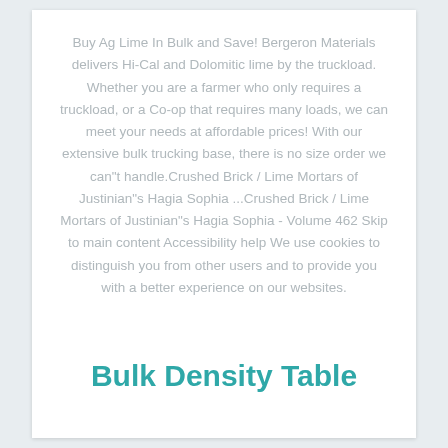Buy Ag Lime In Bulk and Save! Bergeron Materials delivers Hi-Cal and Dolomitic lime by the truckload. Whether you are a farmer who only requires a truckload, or a Co-op that requires many loads, we can meet your needs at affordable prices! With our extensive bulk trucking base, there is no size order we can"t handle.Crushed Brick / Lime Mortars of Justinian"s Hagia Sophia ...Crushed Brick / Lime Mortars of Justinian"s Hagia Sophia - Volume 462 Skip to main content Accessibility help We use cookies to distinguish you from other users and to provide you with a better experience on our websites.
Bulk Density Table